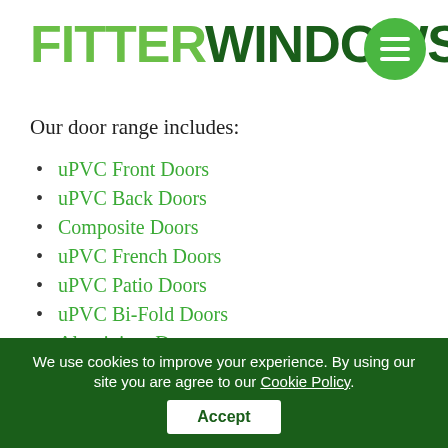FITTER WINDOWS
Our door range includes:
uPVC Front Doors
uPVC Back Doors
Composite Doors
uPVC French Doors
uPVC Patio Doors
uPVC Bi-Fold Doors
Aluminium Doors
Like the windows, our doors come with a variety of glass and handle options, letting the Maidstone customer enjoy a truly bespoke double glazing product in their home.
We use cookies to improve your experience. By using our site you are agree to our Cookie Policy. Accept